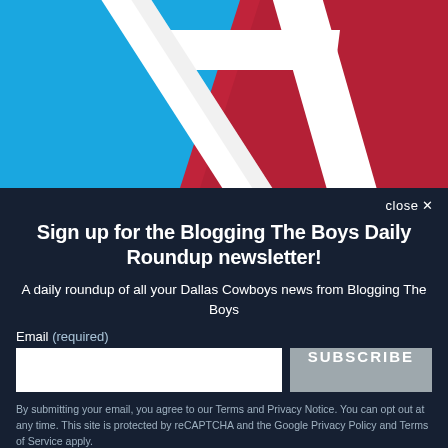[Figure (logo): Blogging The Boys logo — white italic 'it' letterform on a sky-blue background with a dark red diagonal triangle element]
close ✕
Sign up for the Blogging The Boys Daily Roundup newsletter!
A daily roundup of all your Dallas Cowboys news from Blogging The Boys
Email (required)
SUBSCRIBE
By submitting your email, you agree to our Terms and Privacy Notice. You can opt out at any time. This site is protected by reCAPTCHA and the Google Privacy Policy and Terms of Service apply.